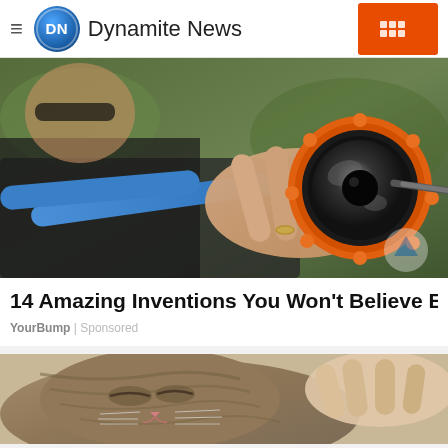Dynamite News
[Figure (photo): Person holding an orange and black gadget device with a blue tube, close-up photo]
14 Amazing Inventions You Won't Believe Exist
YourBump | Sponsored
[Figure (photo): Close-up photo of a sleeping tabby cat being petted]